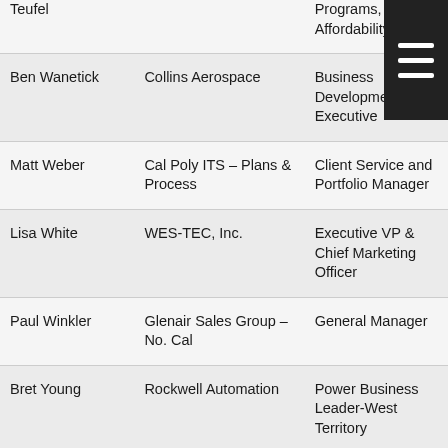| Name | Organization | Title |
| --- | --- | --- |
| [Paul B.] Teufel | [Northrop Grumman] | Manager of Programs, F-[xx] Affordability |
| Ben Wanetick | Collins Aerospace | Business Development Executive |
| Matt Weber | Cal Poly ITS – Plans & Process | Client Service and Portfolio Manager |
| Lisa White | WES-TEC, Inc. | Executive VP & Chief Marketing Officer |
| Paul Winkler | Glenair Sales Group – No. Cal | General Manager |
| Bret Young | Rockwell Automation | Power Business Leader-West Territory |